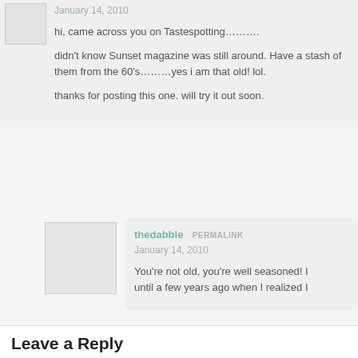January 14, 2010
hi, came across you on Tastespotting……….
didn't know Sunset magazine was still around. Have a stash of them from the 60's………yes i am that old! lol.
thanks for posting this one. will try it out soon.
thedabble PERMALINK
January 14, 2010
You're not old, you're well seasoned! I until a few years ago when I realized I
Leave a Reply